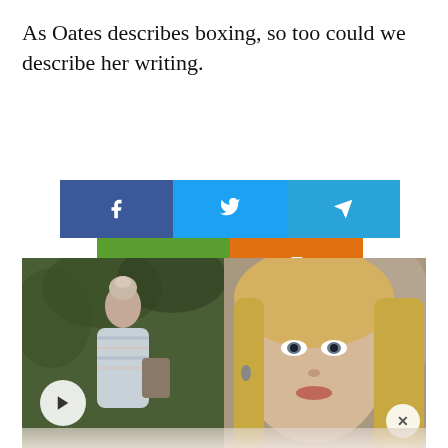As Oates describes boxing, so too could we describe her writing.
[Figure (infographic): Row of social media share buttons: Facebook (dark blue, f icon), Twitter (light blue, bird icon), Telegram (light blue, paper plane icon), Email (green, envelope icon), Print (orange, printer icon)]
[Figure (photo): Two side-by-side photos: left shows a woman in a striped sweater outdoors holding books, right shows a close-up of a blonde woman's face. A play button overlay is visible on the lower left, and an X close button on the lower right.]